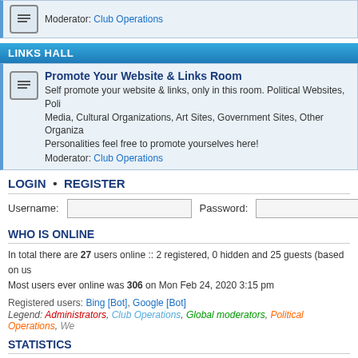Moderator: Club Operations
LINKS HALL
Promote Your Website & Links Room
Self promote your website & links, only in this room. Political Websites, Political Media, Cultural Organizations, Art Sites, Government Sites, Other Organizations, Personalities feel free to promote yourselves here! Moderator: Club Operations
LOGIN • REGISTER
Username:
Password:
WHO IS ONLINE
In total there are 27 users online :: 2 registered, 0 hidden and 25 guests (based on us...
Most users ever online was 306 on Mon Feb 24, 2020 3:15 pm
Registered users: Bing [Bot], Google [Bot]
Legend: Administrators, Club Operations, Global moderators, Political Operations, We...
STATISTICS
Total posts 8095 • Total topics 1697 • Total members 764 • Our newest member Avalo...
Board index
IPC operating since March 30, 2000